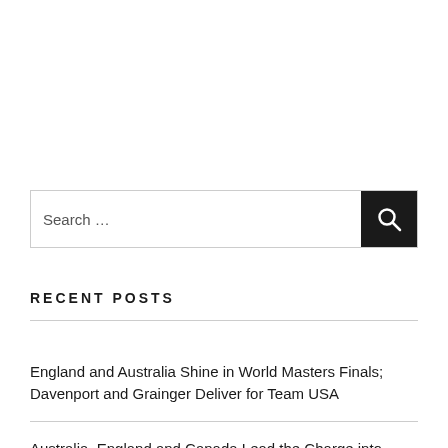Search …
RECENT POSTS
England and Australia Shine in World Masters Finals; Davenport and Grainger Deliver for Team USA
Australia, England and Canada Lead the Charge into World Masters Finals